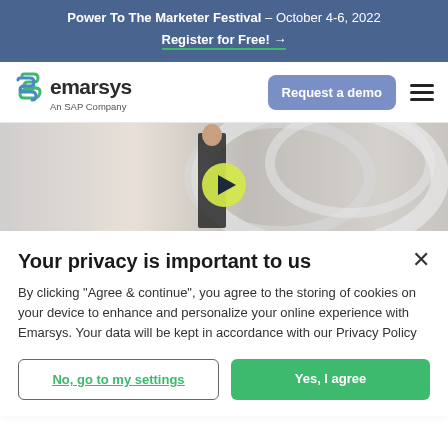Power To The Marketer Festival – October 4-6, 2022
Register for Free! →
[Figure (logo): Emarsys logo with green and blue stylized S icon, text 'emarsys' and subtitle 'An SAP Company']
[Figure (screenshot): Navigation bar with Emarsys logo, 'Request a demo' button, and hamburger menu icon]
[Figure (photo): Hero image of a woman in black outfit with futuristic white curved backdrop, overlaid with a yellow/green play button]
Your privacy is important to us
By clicking "Agree & continue", you agree to the storing of cookies on your device to enhance and personalize your online experience with Emarsys. Your data will be kept in accordance with our Privacy Policy
No, go to my settings
Yes, I agree